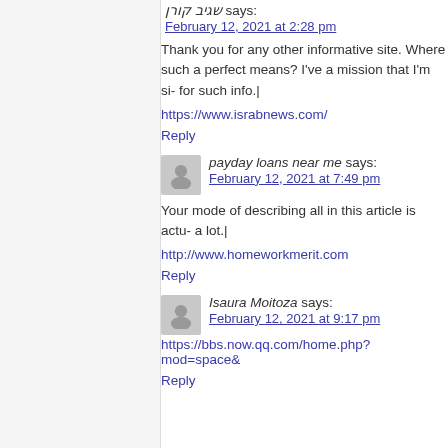שגיב קורן says:
February 12, 2021 at 2:28 pm
Thank you for any other informative site. Where such a perfect means? I've a mission that I'm si- for such info.|
https://www.israbnews.com/
Reply
payday loans near me says:
February 12, 2021 at 7:49 pm
Your mode of describing all in this article is actu- a lot.|
http://www.homeworkmerit.com
Reply
Isaura Moitoza says:
February 12, 2021 at 9:17 pm
https://bbs.now.qq.com/home.php?mod=space&
Reply